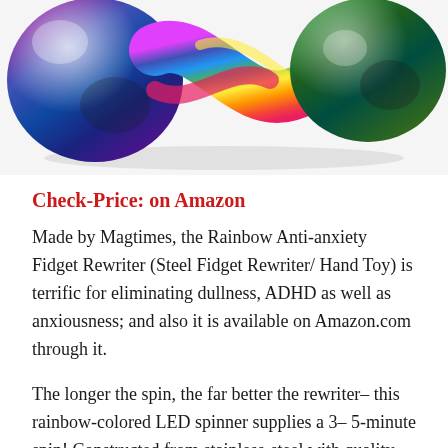[Figure (photo): Rainbow iridescent metallic S-shaped fidget toy with two balls at each end, shown on white background, partial top crop]
Check-Price: on Amazon
Made by Magtimes, the Rainbow Anti-anxiety Fidget Rewriter (Steel Fidget Rewriter/ Hand Toy) is terrific for eliminating dullness, ADHD as well as anxiousness; and also it is available on Amazon.com through it.
The longer the spin, the far better the rewriter– this rainbow-colored LED spinner supplies a 3– 5-minute spin! Constructed from stainless-steel with quality ball bearings, it has fantastic testimonials and is a